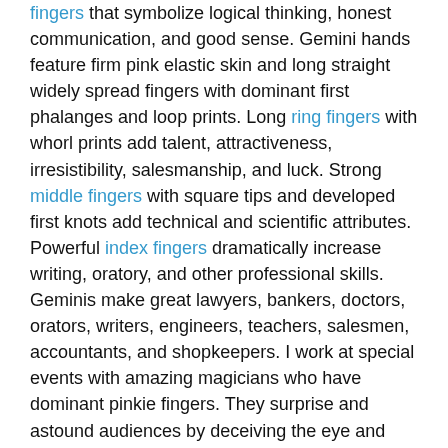fingers that symbolize logical thinking, honest communication, and good sense. Gemini hands feature firm pink elastic skin and long straight widely spread fingers with dominant first phalanges and loop prints. Long ring fingers with whorl prints add talent, attractiveness, irresistibility, salesmanship, and luck. Strong middle fingers with square tips and developed first knots add technical and scientific attributes. Powerful index fingers dramatically increase writing, oratory, and other professional skills. Geminis make great lawyers, bankers, doctors, orators, writers, engineers, teachers, salesmen, accountants, and shopkeepers. I work at special events with amazing magicians who have dominant pinkie fingers. They surprise and astound audiences by deceiving the eye and mind of the beholder. Dominant pinkie people prefer small musical instruments that require a lot of dexterity. Music makes sense because hearing is Gemini's physical sense.
[Figure (photo): Black and white image showing a hand or fingers, partially visible at bottom of page within a bordered rectangle]